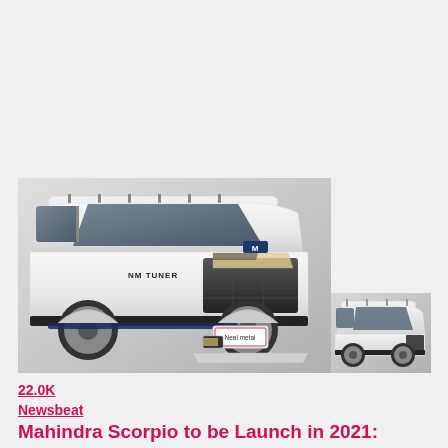[Figure (photo): Main image: white Mahindra Scorpio SUV render with 'NM TUNER' branding and 'Neal Metal' license plate placeholder, front-angled view. Secondary smaller image: white SUV rear-angled view.]
22.0K
Newsbeat
Mahindra Scorpio to be Launch in 2021: Features